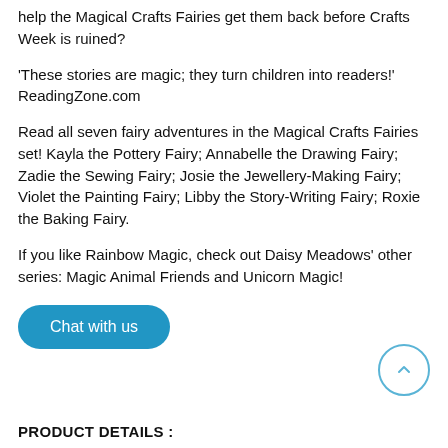help the Magical Crafts Fairies get them back before Crafts Week is ruined?
'These stories are magic; they turn children into readers!' ReadingZone.com
Read all seven fairy adventures in the Magical Crafts Fairies set! Kayla the Pottery Fairy; Annabelle the Drawing Fairy; Zadie the Sewing Fairy; Josie the Jewellery-Making Fairy; Violet the Painting Fairy; Libby the Story-Writing Fairy; Roxie the Baking Fairy.
If you like Rainbow Magic, check out Daisy Meadows' other series: Magic Animal Friends and Unicorn Magic!
[Figure (other): Blue rounded rectangle chat button with white text 'Chat with us']
[Figure (other): Circular scroll-up button with upward chevron arrow, blue outline]
PRODUCT DETAILS :